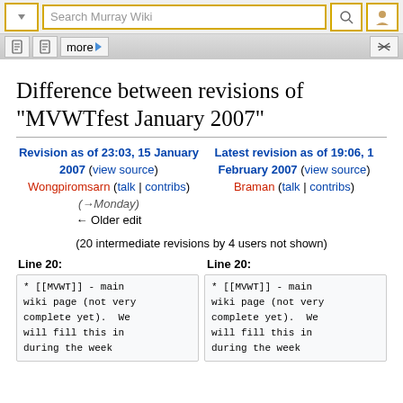Search Murray Wiki
Difference between revisions of "MVWTfest January 2007"
Revision as of 23:03, 15 January 2007 (view source)
Wongpiromsarn (talk | contribs)
(→Monday)
← Older edit
Latest revision as of 19:06, 1 February 2007 (view source)
Braman (talk | contribs)
(20 intermediate revisions by 4 users not shown)
| Line 20: | Line 20: |
| --- | --- |
| * [[MVWT]] - main wiki page (not very complete yet).  We will fill this in during the week | * [[MVWT]] - main wiki page (not very complete yet).  We will fill this in during the week |